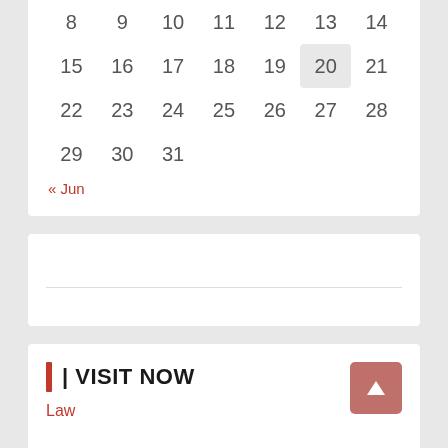| 8 | 9 | 10 | 11 | 12 | 13 | 14 |
| 15 | 16 | 17 | 18 | 19 | 20 | 21 |
| 22 | 23 | 24 | 25 | 26 | 27 | 28 |
| 29 | 30 | 31 |  |  |  |  |
« Jun
| VISIT NOW
Law